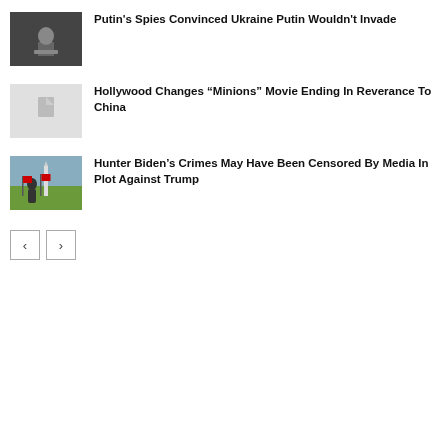[Figure (photo): Person at podium, dark background]
Putin's Spies Convinced Ukraine Putin Wouldn't Invade
[Figure (photo): Placeholder image with document icon]
Hollywood Changes “Minions” Movie Ending In Reverance To China
[Figure (photo): Person with American flags near Washington Monument]
Hunter Biden’s Crimes May Have Been Censored By Media In Plot Against Trump
< >